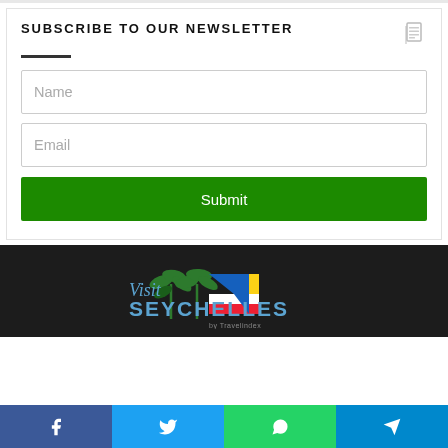SUBSCRIBE TO OUR NEWSLETTER
Name
Email
Submit
[Figure (logo): Visit Seychelles by Travelindex logo with palm trees and Seychelles flag colors]
[Figure (infographic): Social media share bar with Facebook, Twitter, WhatsApp, and Telegram buttons]